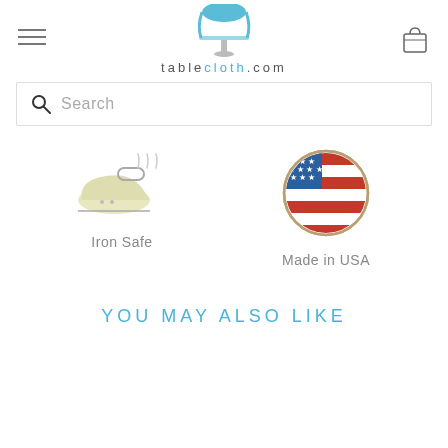[Figure (logo): tablecloth.com logo with blue tablecloth icon on a table, hamburger menu icon on left, shopping bag icon on right]
[Figure (screenshot): Search bar with magnifying glass icon and placeholder text 'Search']
[Figure (illustration): Iron Safe icon - cartoon iron with steam lines]
[Figure (illustration): Made in USA icon - circular badge with American flag]
Iron Safe
Made in USA
YOU MAY ALSO LIKE